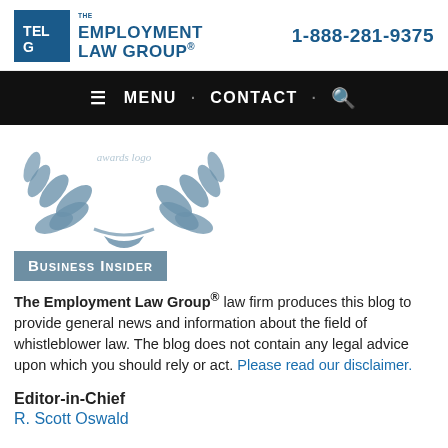[Figure (logo): The Employment Law Group logo with blue square emblem and text]
1-888-281-9375
[Figure (screenshot): Black navigation bar with MENU · CONTACT · Search icon]
[Figure (illustration): Laurel wreath award illustration in steel blue]
[Figure (logo): Business Insider badge with grey-blue background]
The Employment Law Group® law firm produces this blog to provide general news and information about the field of whistleblower law. The blog does not contain any legal advice upon which you should rely or act. Please read our disclaimer.
Editor-in-Chief
R. Scott Oswald